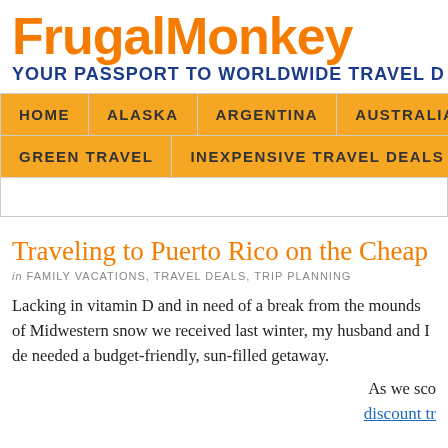FrugalMonkey
YOUR PASSPORT TO WORLDWIDE TRAVEL D
HOME | ALASKA | ARGENTINA | AUSTRALIA | GRE | GREEN TRAVEL | INEXPENSIVE TRAVEL DEALS | T
Traveling to Puerto Rico on the Cheap
in FAMILY VACATIONS, TRAVEL DEALS, TRIP PLANNING
Lacking in vitamin D and in need of a break from the mounds of Midwestern snow we received last winter, my husband and I decided we needed a budget-friendly, sun-filled getaway.
As we sco
discount tr